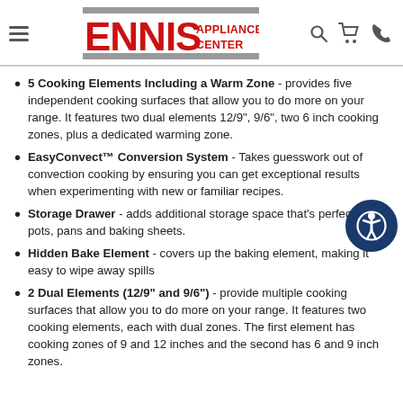Ennis Appliance Center
5 Cooking Elements Including a Warm Zone - provides five independent cooking surfaces that allow you to do more on your range. It features two dual elements 12/9", 9/6", two 6 inch cooking zones, plus a dedicated warming zone.
EasyConvect™ Conversion System - Takes guesswork out of convection cooking by ensuring you can get exceptional results when experimenting with new or familiar recipes.
Storage Drawer - adds additional storage space that's perfect for pots, pans and baking sheets.
Hidden Bake Element - covers up the baking element, making it easy to wipe away spills
2 Dual Elements (12/9" and 9/6") - provide multiple cooking surfaces that allow you to do more on your range. It features two cooking elements, each with dual zones. The first element has cooking zones of 9 and 12 inches and the second has 6 and 9 inch zones.